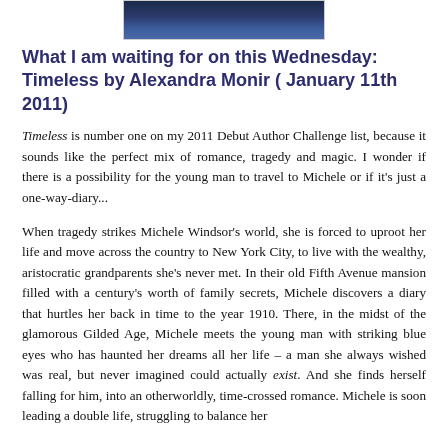[Figure (photo): Dark blue starry/bokeh background image at the top of the page, partially cropped]
What I am waiting for on this Wednesday: Timeless by Alexandra Monir ( January 11th 2011)
Timeless is number one on my 2011 Debut Author Challenge list, because it sounds like the perfect mix of romance, tragedy and magic. I wonder if there is a possibility for the young man to travel to Michele or if it's just a one-way-diary...
When tragedy strikes Michele Windsor's world, she is forced to uproot her life and move across the country to New York City, to live with the wealthy, aristocratic grandparents she's never met. In their old Fifth Avenue mansion filled with a century's worth of family secrets, Michele discovers a diary that hurtles her back in time to the year 1910. There, in the midst of the glamorous Gilded Age, Michele meets the young man with striking blue eyes who has haunted her dreams all her life – a man she always wished was real, but never imagined could actually exist. And she finds herself falling for him, into an otherworldly, time-crossed romance. Michele is soon leading a double life, struggling to balance her